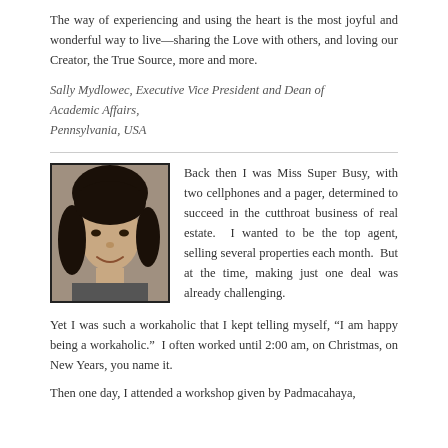The way of experiencing and using the heart is the most joyful and wonderful way to live—sharing the Love with others, and loving our Creator, the True Source, more and more.
Sally Mydlowec, Executive Vice President and Dean of Academic Affairs,
Pennsylvania, USA
[Figure (photo): Portrait photo of a woman with dark hair, smiling]
Back then I was Miss Super Busy, with two cellphones and a pager, determined to succeed in the cutthroat business of real estate.  I wanted to be the top agent, selling several properties each month.  But at the time, making just one deal was already challenging.
Yet I was such a workaholic that I kept telling myself, “I am happy being a workaholic.”  I often worked until 2:00 am, on Christmas, on New Years, you name it.
Then one day, I attended a workshop given by Padmacahaya,